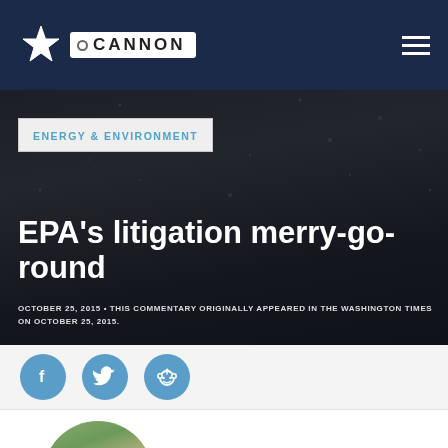The Cannon — site logo and navigation
ENERGY & ENVIRONMENT
EPA's litigation merry-go-round
OCTOBER 25, 2015 • THIS COMMENTARY ORIGINALLY APPEARED IN THE WASHINGTON TIMES ON OCTOBER 25, 2015.
[Figure (illustration): Social sharing icons: Facebook, Twitter, Reddit]
[Figure (photo): Circular author headshot photo — man in outdoor setting with trees and building visible in background]